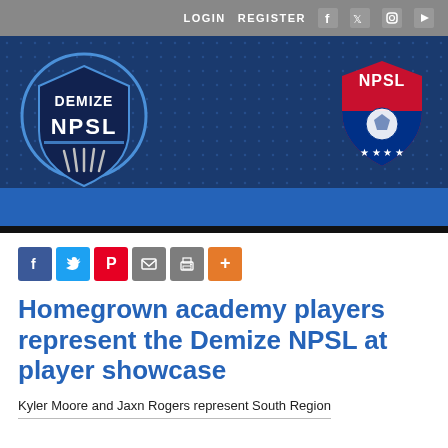LOGIN   REGISTER
[Figure (logo): Demize NPSL logo on dark blue banner with NPSL shield logo on right]
[Figure (infographic): Social share buttons: Facebook, Twitter, Pinterest, Email, Print, More]
Homegrown academy players represent the Demize NPSL at player showcase
Kyler Moore and Jaxn Rogers represent South Region